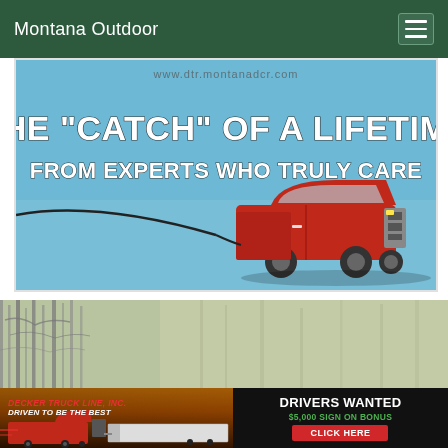Montana Outdoor
[Figure (photo): Advertisement: red Chevrolet pickup truck suspended by a fishing line against a blue sky background. Text reads: THE "CATCH" OF A LIFETIME / FROM EXPERTS WHO TRULY CARE. Website watermark partially visible at top.]
[Figure (photo): Background nature/outdoor scene: bare winter trees in a forest/field, muted green and gray tones.]
[Figure (infographic): Decker Truck Line, Inc. advertisement. Left side: red semi-truck and flatbed truck against orange sunset sky. Text: DECKER TRUCK LINE, INC. / DRIVEN TO BE THE BEST. Right side black panel: DRIVERS WANTED / $5,000 SIGN ON BONUS / CLICK HERE button.]